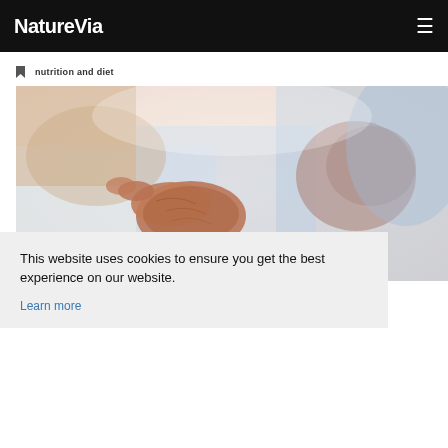NatureVia
nutrition and diet
[Figure (photo): Close-up photograph of elderly person's hands resting on lap, wearing light blue shirt, blurred background]
This website uses cookies to ensure you get the best experience on our website. Learn more